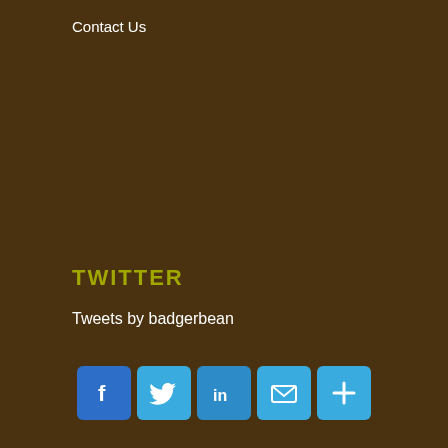Contact Us
TWITTER
Tweets by badgerbean
[Figure (infographic): Social sharing buttons row: Facebook, Twitter, LinkedIn, Email, More (plus sign)]